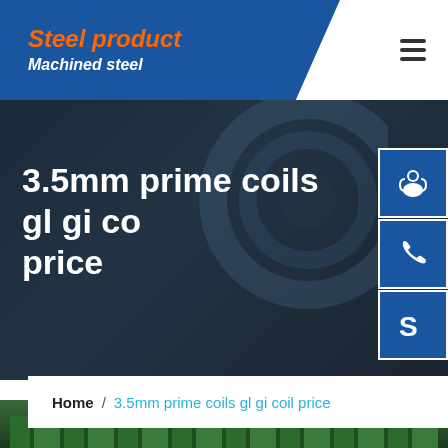Steel product / Machined steel
3.5mm prime coils gl gi coil price
Home / 3.5mm prime coils gl gi coil price
[Figure (photo): Factory interior showing industrial steel machinery with green equipment and overhead lighting]